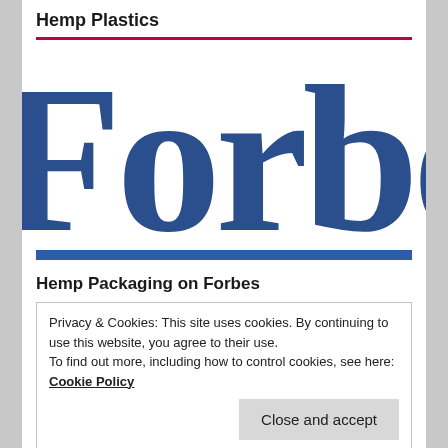Hemp Plastics
[Figure (logo): Forbes magazine logo, large blue serif text partially cropped, showing 'Forbes']
Hemp Packaging on Forbes
Privacy & Cookies: This site uses cookies. By continuing to use this website, you agree to their use.
To find out more, including how to control cookies, see here: Cookie Policy
Close and accept
Published by Axel Barrett